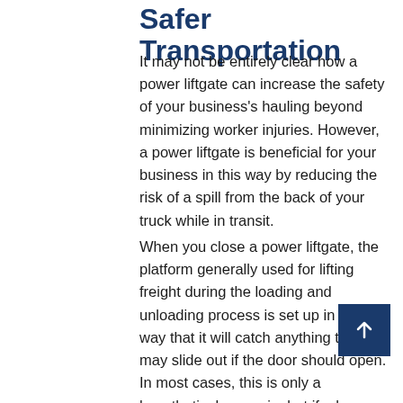Safer Transportation
It may not be entirely clear how a power liftgate can increase the safety of your business's hauling beyond minimizing worker injuries. However, a power liftgate is beneficial for your business in this way by reducing the risk of a spill from the back of your truck while in transit.
When you close a power liftgate, the platform generally used for lifting freight during the loading and unloading process is set up in such a way that it will catch anything that may slide out if the door should open. In most cases, this is only a hypothetical scenario, but if a human